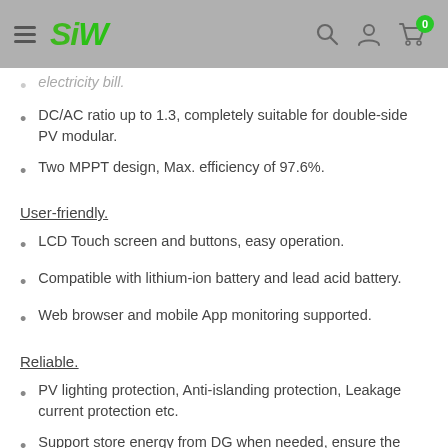SIW - navigation header
electricity bill.
DC/AC ratio up to 1.3, completely suitable for double-side PV modular.
Two MPPT design, Max. efficiency of 97.6%.
User-friendly.
LCD Touch screen and buttons, easy operation.
Compatible with lithium-ion battery and lead acid battery.
Web browser and mobile App monitoring supported.
Reliable.
PV lighting protection, Anti-islanding protection, Leakage current protection etc.
Support store energy from DG when needed, ensure the system working within 7*24H.